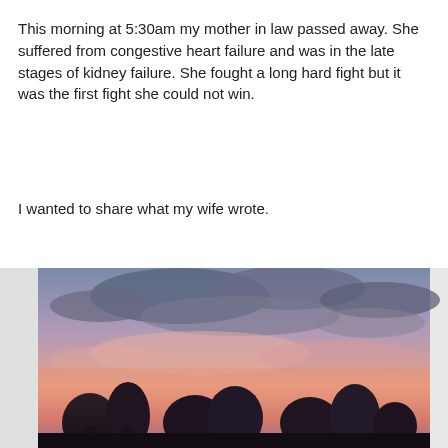This morning at 5:30am my mother in law passed away. She suffered from congestive heart failure and was in the late stages of kidney failure. She fought a long hard fight but it was the first fight she could not win.
I wanted to share what my wife wrote.
[Figure (photo): A photograph of a sunset or sunrise sky with pink and purple hues, dark storm clouds above, and tree silhouettes at the bottom.]